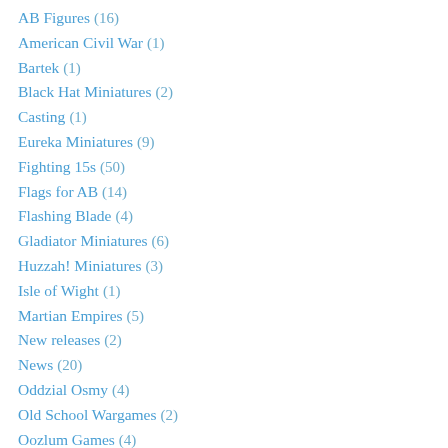AB Figures (16)
American Civil War (1)
Bartek (1)
Black Hat Miniatures (2)
Casting (1)
Eureka Miniatures (9)
Fighting 15s (50)
Flags for AB (14)
Flashing Blade (4)
Gladiator Miniatures (6)
Huzzah! Miniatures (3)
Isle of Wight (1)
Martian Empires (5)
New releases (2)
News (20)
Oddzial Osmy (4)
Old School Wargames (2)
Oozlum Games (4)
Playing Cards (3)
Rules (1)